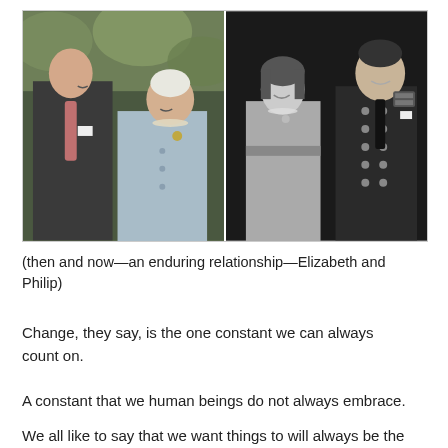[Figure (photo): Side-by-side photos: left is a modern color photo of elderly Queen Elizabeth II and Prince Philip walking together outdoors; right is a black-and-white vintage photo of a young Princess Elizabeth and Prince Philip smiling at each other.]
(then and now—an enduring relationship—Elizabeth and Philip)
Change, they say, is the one constant we can always count on.
A constant that we human beings do not always embrace.
We all like to say that we want things to will always be the